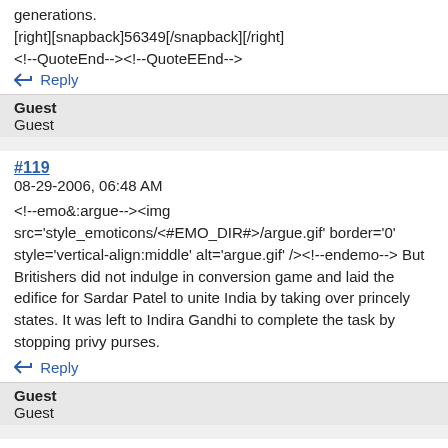generations.
[right][snapback]56349[/snapback][/right]
<!--QuoteEnd--><!--QuoteEEnd-->
Reply
Guest
Guest
#119
08-29-2006, 06:48 AM
<!--emo&:argue--><img src='style_emoticons/<#EMO_DIR#>/argue.gif' border='0' style='vertical-align:middle' alt='argue.gif' /><!--endemo--> But Britishers did not indulge in conversion game and laid the edifice for Sardar Patel to unite India by taking over princely states. It was left to Indira Gandhi to complete the task by stopping privy purses.
Reply
Guest
Guest
#120
09-01-2006, 09:09 AM
Google book
<b>The Siege of Delhi in 1857: A Short Account</b> By Arthur Gore Handcock